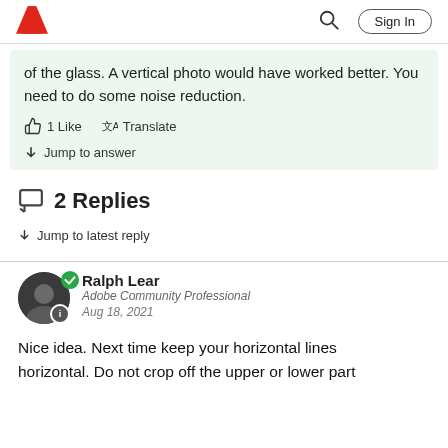Adobe | Sign In
of the glass. A vertical photo would have worked better. You need to do some noise reduction.
1 Like   Translate
Jump to answer
2 Replies
Jump to latest reply
Ralph Lear
Adobe Community Professional
Aug 18, 2021
Nice idea. Next time keep your horizontal lines horizontal. Do not crop off the upper or lower part